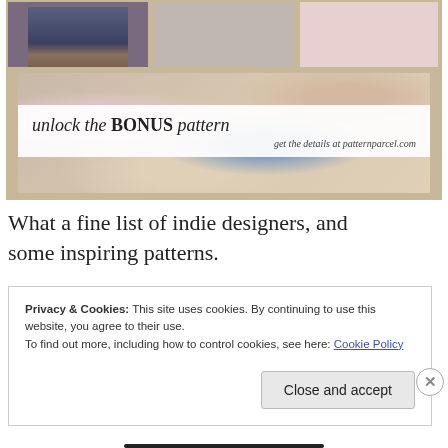[Figure (photo): Fashion blog banner image showing a collage of clothing and floral fabric photos with a white overlay text box reading 'unlock the BONUS pattern — get the details at patternparcel.com']
What a fine list of indie designers, and some inspiring patterns.
Privacy & Cookies: This site uses cookies. By continuing to use this website, you agree to their use.
To find out more, including how to control cookies, see here: Cookie Policy
Close and accept